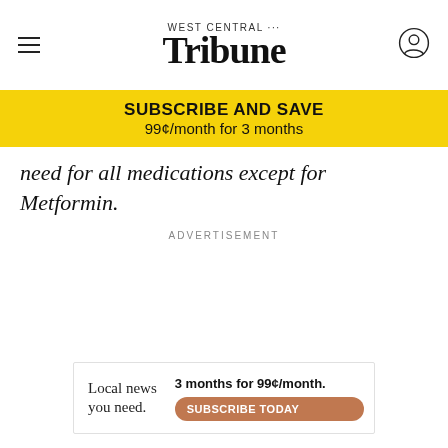West Central Tribune
SUBSCRIBE AND SAVE
99¢/month for 3 months
need for all medications except for Metformin.
ADVERTISEMENT
[Figure (infographic): Bottom advertisement banner: 'Local news you need. 3 months for 99¢/month. SUBSCRIBE TODAY']